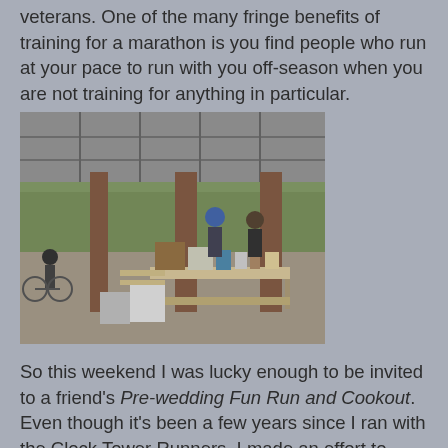veterans. One of the many fringe benefits of training for a marathon is you find people who run at your pace to run with you off-season when you are not training for anything in particular.
[Figure (photo): Outdoor park pavilion with a metal roof supported by brick columns. People stand around folding tables loaded with food, drinks, and bags. A bicycle is visible on the left side. Green trees are visible in the background.]
So this weekend I was lucky enough to be invited to a friend's Pre-wedding Fun Run and Cookout. Even though it's been a few years since I ran with the Clock Tower Runners, I made an effort to show up for Social Maintenance. While I knew a few people and managed to make a few new acquaintances, I was very relieved when the opportunity to help man the grill came along.